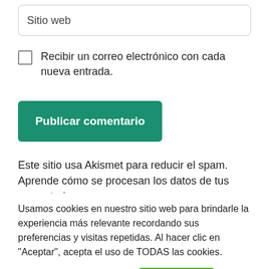Sitio web
Recibir un correo electrónico con cada nueva entrada.
Publicar comentario
Este sitio usa Akismet para reducir el spam. Aprende cómo se procesan los datos de tus comentarios
Usamos cookies en nuestro sitio web para brindarle la experiencia más relevante recordando sus preferencias y visitas repetidas. Al hacer clic en "Aceptar", acepta el uso de TODAS las cookies.
Cookies Personalizadas
ACEPTAR